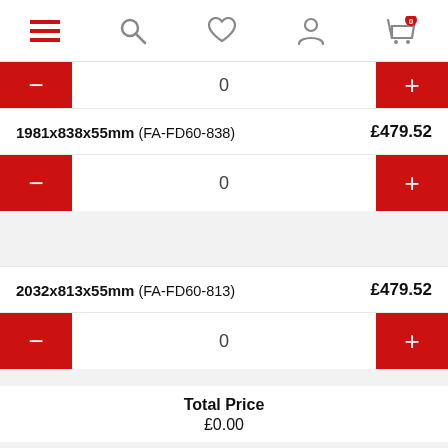Navigation bar with hamburger menu, search, wishlist, account, and cart (0 items)
1981x838x55mm (FA-FD60-838)  £479.52
0
2032x813x55mm (FA-FD60-813)  £479.52
0
Total Price
£0.00
Choose product